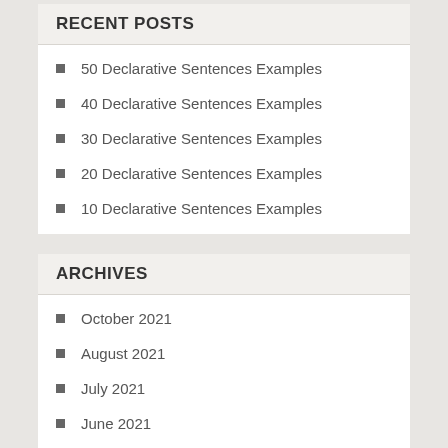RECENT POSTS
50 Declarative Sentences Examples
40 Declarative Sentences Examples
30 Declarative Sentences Examples
20 Declarative Sentences Examples
10 Declarative Sentences Examples
ARCHIVES
October 2021
August 2021
July 2021
June 2021
May 2021
April 2021